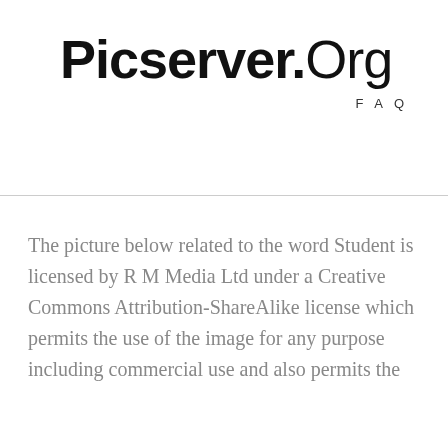Picserver.Org
FAQ
The picture below related to the word Student is licensed by R M Media Ltd under a Creative Commons Attribution-ShareAlike license which permits the use of the image for any purpose including commercial use and also permits the